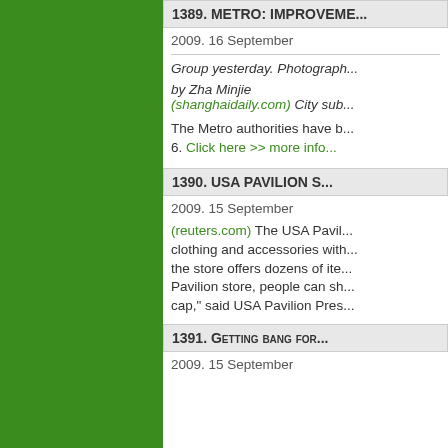1389. METRO: IMPROVEME...
2009. 16 September
Group yesterday. Photograph...
by Zha Minjie
(shanghaidaily.com) City sub...
The Metro authorities have b... 6. Click here >> more info...
1390. USA PAVILION S...
2009. 15 September
(reuters.com) The USA Pavil... clothing and accessories with... the store offers dozens of ite... Pavilion store, people can sh... cap," said USA Pavilion Pres...
1391. GETTING BANG FOR...
2009. 15 September